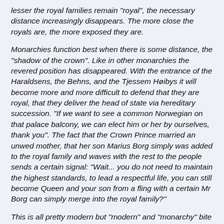lesser the royal families remain 'royal', the necessary distance increasingly disappears. The more close the royals are, the more exposed they are.
Monarchies function best when there is some distance, the "shadow of the crown". Like in other monarchies the revered position has disappeared. With the entrance of the Haraldsens, the Behns, and the Tjessem Høibys it will become more and more difficult to defend that they are royal, that they deliver the head of state via hereditary succession. "If we want to see a common Norwegian on that palace balcony, we can elect him or her by ourselves, thank you". The fact that the Crown Prince married an unwed mother, that her son Marius Borg simply was added to the royal family and waves with the rest to the people sends a certain signal: "Wait... you do not need to maintain the highest standards, to lead a respectful life, you can still become Queen and your son from a fling with a certain Mr Borg can simply merge into the royal family?"
This is all pretty modern but "modern" and "monarchy" bite each other. When you love a monarchy, then you know you love an old, traditional and by nature conservative institute with iron rules and standards. By loosing all possible standards (Not royal or even aristocratic? No problem! Is an unwed mother? No problem! Her son can join the royal family? No problem!) the hidden message is delivered: it does not matter at all, any clown can become "royal" (Ari comes close).